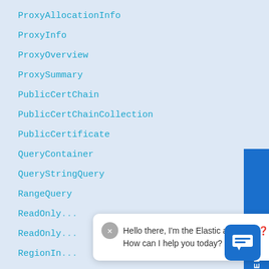ProxyAllocationInfo
ProxyInfo
ProxyOverview
ProxySummary
PublicCertChain
PublicCertChainCollection
PublicCertificate
QueryContainer
QueryStringQuery
RangeQuery
ReadOnly...
ReadOnly...
RegionIn...
Hello there, I'm the Elastic assistant 🤖 How can I help you today?